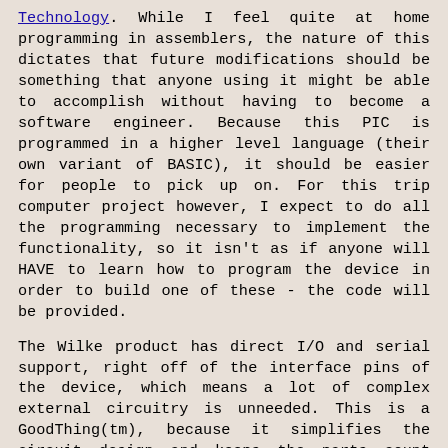Technology. While I feel quite at home programming in assemblers, the nature of this dictates that future modifications should be something that anyone using it might be able to accomplish without having to become a software engineer. Because this PIC is programmed in a higher level language (their own variant of BASIC), it should be easier for people to pick up on. For this trip computer project however, I expect to do all the programming necessary to implement the functionality, so it isn't as if anyone will HAVE to learn how to program the device in order to build one of these - the code will be provided.
The Wilke product has direct I/O and serial support, right off of the interface pins of the device, which means a lot of complex external circuitry is unneeded. This is a GoodThing(tm), because it simplifies the circuit design and keeps the parts count down.
About the buttons - I mentioned that the new unit wouldn't necessarily require as many buttons as the original. This is because with the advanced display, we can use the buttons as navigation and menu selection, rather than as single-function switches. This plays a big role in future projects. Further, and while I've not yet purchased the development kit (about US$900 - a cost to be burdened by me to initiate